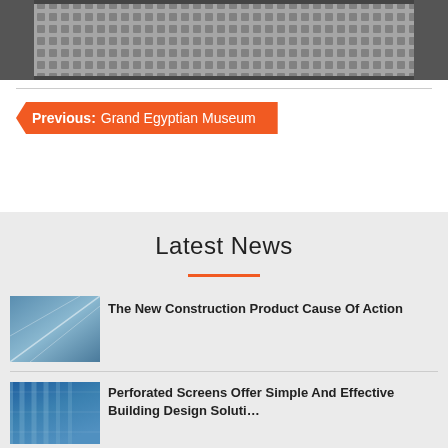[Figure (photo): Architectural photo showing perforated metal facade or screen pattern, top portion cropped]
Previous: Grand Egyptian Museum
Latest News
[Figure (photo): Architectural photo of glass building facade with curved lines]
The New Construction Product Cause Of Action
[Figure (photo): Architectural photo of building with perforated or louvered screens]
Perforated Screens Offer Simple And Effective Building Design Solution